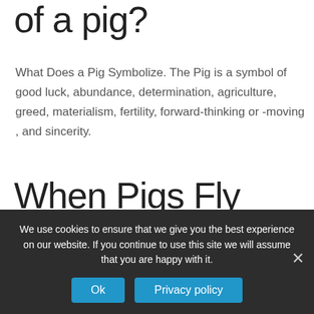of a pig?
What Does a Pig Symbolize. The Pig is a symbol of good luck, abundance, determination, agriculture, greed, materialism, fertility, forward-thinking or -moving , and sincerity.
When Pigs Fly used in a sentence?
John asked Sarah whether she would go to the movies
We use cookies to ensure that we give you the best experience on our website. If you continue to use this site we will assume that you are happy with it.